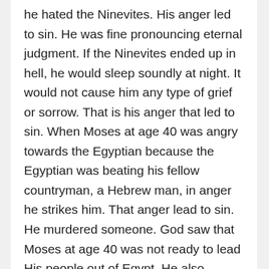he hated the Ninevites. His anger led to sin. He was fine pronouncing eternal judgment. If the Ninevites ended up in hell, he would sleep soundly at night. It would not cause him any type of grief or sorrow. That is his anger that led to sin. When Moses at age 40 was angry towards the Egyptian because the Egyptian was beating his fellow countryman, a Hebrew man, in anger he strikes him. That anger lead to sin. He murdered someone. God saw that Moses at age 40 was not ready to lead His people out of Egypt. He also recognized that people were not ready to be delivered. So what does God do? He sets Moses aside quietly to train him for 40 years to deal with his anger.